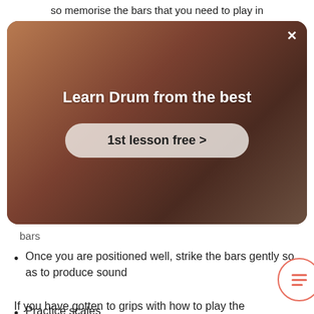so memorise the bars that you need to play in
[Figure (screenshot): Advertisement overlay showing 'Learn Drum from the best' with '1st lesson free >' button over a photo of a person playing percussion instrument]
bars
Once you are positioned well, strike the bars gently so as to produce sound
Practice scales
Eventually, you can prepare yourself to play the marimba using more than one malle
If you have gotten to grips with how to play the